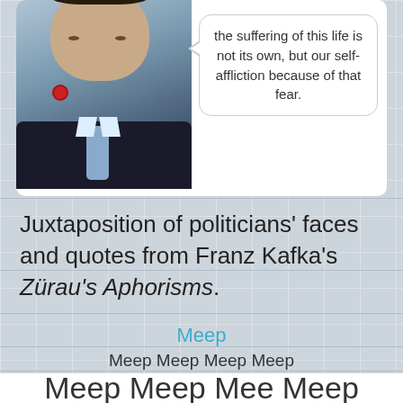[Figure (photo): Politician in dark suit with red poppy pin and light blue tie, with a speech bubble containing text about fear and suffering]
the suffering of this life is not its own, but our self-affliction because of that fear.
Juxtaposition of politicians' faces and quotes from Franz Kafka's Zürau's Aphorisms.
Meep
Meep Meep Meep Meep
Meep Meep Mee Meep